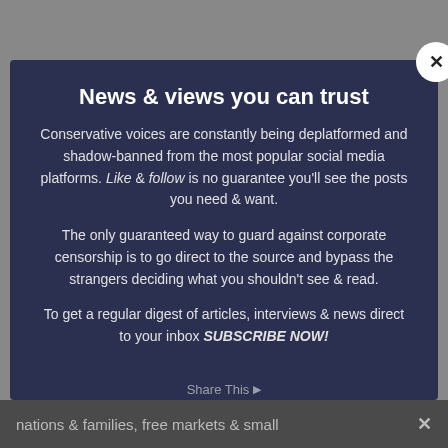News & views you can trust
Conservative voices are constantly being deplatformed and shadow-banned from the most popular social media platforms. Like & follow is no guarantee you'll see the posts you need & want.
The only guaranteed way to guard against corporate censorship is to go direct to the source and bypass the strangers deciding what you shouldn't see & read.
To get a regular digest of articles, interviews & news direct to your inbox SUBSCRIBE NOW!
nations & families, free markets & small